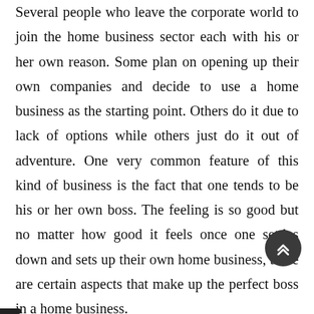Several people who leave the corporate world to join the home business sector each with his or her own reason. Some plan on opening up their own companies and decide to use a home business as the starting point. Others do it due to lack of options while others just do it out of adventure. One very common feature of this kind of business is the fact that one tends to be his or her own boss. The feeling is so good but no matter how good it feels once one settles down and sets up their own home business, there are certain aspects that make up the perfect boss in a home business.

There are two main features of a home business boss that one is expected to follow to the letter if he or she plans to succeed. The first one is that as the boss, you should follow the work schedule to the letter. A work